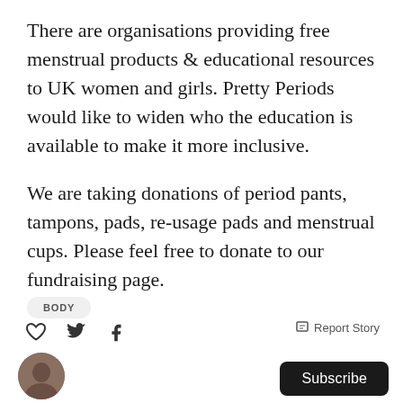There are organisations providing free menstrual products & educational resources to UK women and girls. Pretty Periods would like to widen who the education is available to make it more inclusive.
We are taking donations of period pants, tampons, pads, re-usage pads and menstrual cups. Please feel free to donate to our fundraising page.
BODY
Report Story | Subscribe